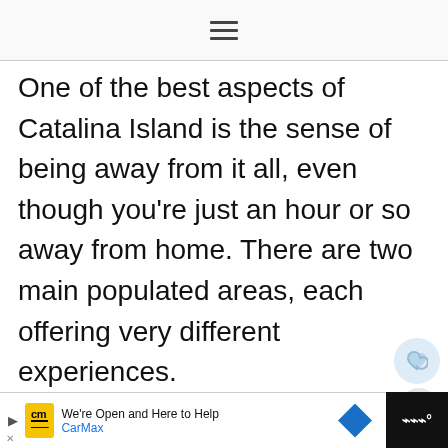[hamburger menu icon]
One of the best aspects of Catalina Island is the sense of being away from it all, even though you're just an hour or so away from home. There are two main populated areas, each offering very different experiences.
Both areas are resort oriented, however, Avalon is an incorporated city while Two Harbors is an unincorporated village.
[Figure (screenshot): CarMax advertisement banner at the bottom of the screen with 'We're Open and Here to Help' text and CarMax logo]
[Figure (screenshot): What's Next panel showing thumbnail image and 'Best Places to Stay on...' text]